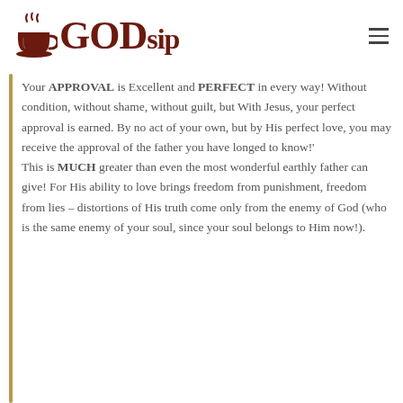[Figure (logo): GODsip logo with coffee cup and steam, text 'GODsip' in dark brown serif font]
Your APPROVAL is Excellent and PERFECT in every way!  Without condition, without shame, without guilt, but With Jesus, your perfect approval is earned. By no act of your own, but by His perfect love, you may receive the approval of the father you have longed to know!' This is MUCH greater than even the most wonderful earthly father can give!  For His ability to love brings freedom from punishment, freedom from lies – distortions of His truth come only from the enemy of God (who is the same enemy of your soul, since your soul belongs to Him now!).